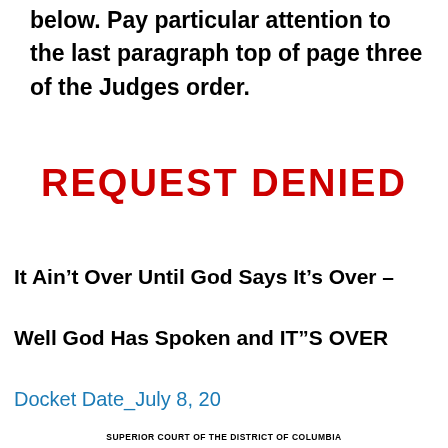below. Pay particular attention to the last paragraph top of page three of the Judges order.
REQUEST DENIED
It Ain’t Over Until God Says It’s Over – Well God Has Spoken and IT”S OVER
Docket Date_July 8, 20
SUPERIOR COURT OF THE DISTRICT OF COLUMBIA